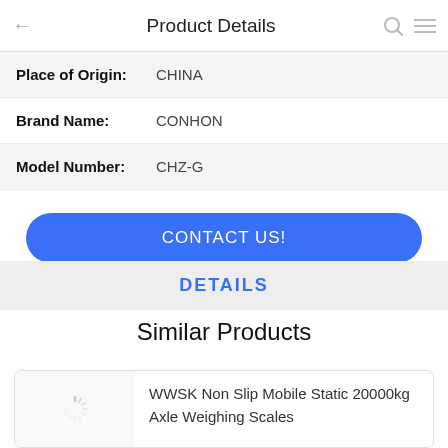Product Details
Place of Origin: CHINA
Brand Name: CONHON
Model Number: CHZ-G
CONTACT US!
DETAILS
Similar Products
WWSK Non Slip Mobile Static 20000kg Axle Weighing Scales